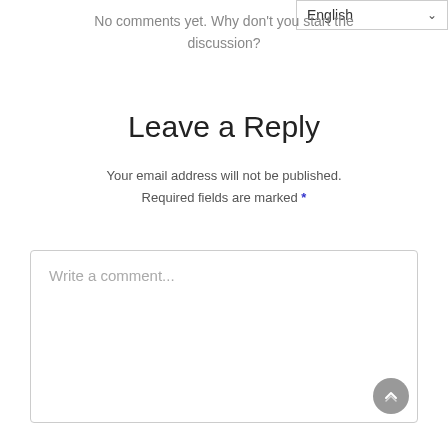No comments yet. Why don't you start the discussion?
[Figure (screenshot): Language dropdown selector showing 'English' with a chevron/arrow icon]
Leave a Reply
Your email address will not be published. Required fields are marked *
[Figure (screenshot): Comment text area input box with placeholder text 'Write a comment...' and a scroll-to-top button in the bottom right corner]